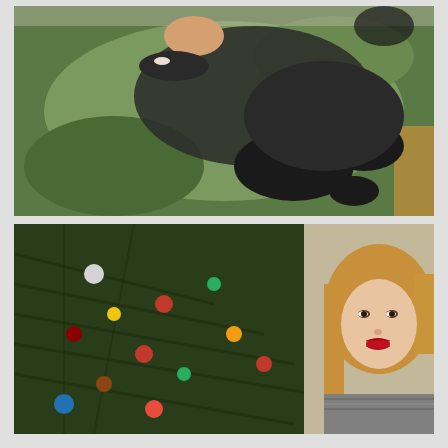[Figure (photo): A woman in a black dress and dark stockings sitting/posing on a green carpet/rug, viewed from above. She is wearing a pearl bracelet and has her legs folded.]
[Figure (photo): A woman with shoulder-length blonde hair and red lips smiling in front of a decorated Christmas tree with colorful ornaments.]